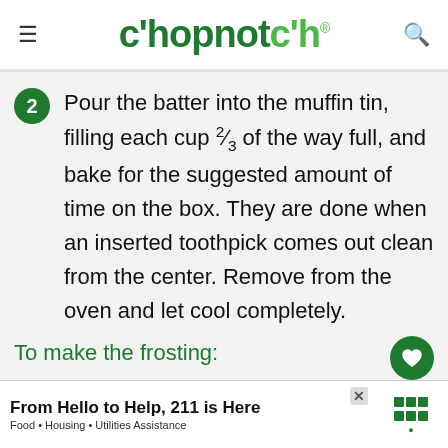chopnotch
Pour the batter into the muffin tin, filling each cup ⅔ of the way full, and bake for the suggested amount of time on the box. They are done when an inserted toothpick comes out clean from the center. Remove from the oven and let cool completely.
To make the frosting:
From Hello to Help, 211 is Here
Food • Housing • Utilities Assistance